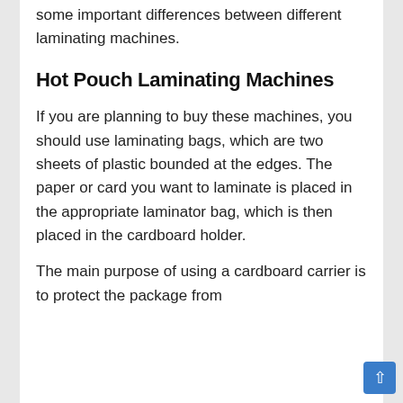some important differences between different laminating machines.
Hot Pouch Laminating Machines
If you are planning to buy these machines, you should use laminating bags, which are two sheets of plastic bounded at the edges. The paper or card you want to laminate is placed in the appropriate laminator bag, which is then placed in the cardboard holder.
The main purpose of using a cardboard carrier is to protect the package from